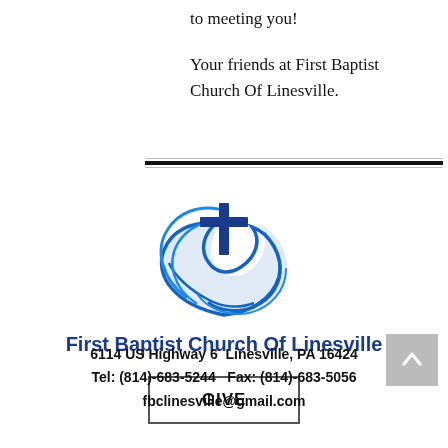to meeting you!
Your friends at First Baptist Church Of Linesville.
[Figure (logo): First Baptist Church Of Linesville logo: a blue cross above blue wave/swirl design]
First Baptist Church Of Linesville
GIVE
6114 US Highway 6  Linesville, PA 16424
Tel: (814)-683-5244   Fax: (814)-683-5056
fbclinesville@gmail.com